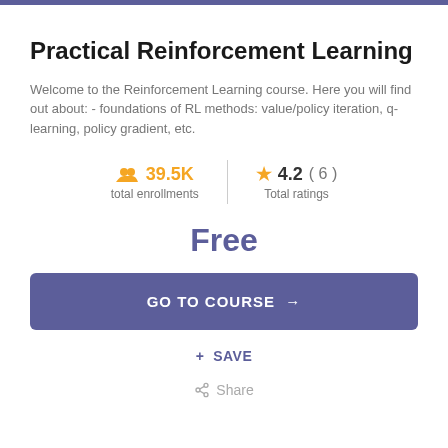Practical Reinforcement Learning
Welcome to the Reinforcement Learning course. Here you will find out about: - foundations of RL methods: value/policy iteration, q-learning, policy gradient, etc.
39.5K total enrollments | 4.2 (6) Total ratings
Free
GO TO COURSE →
+ SAVE
Share